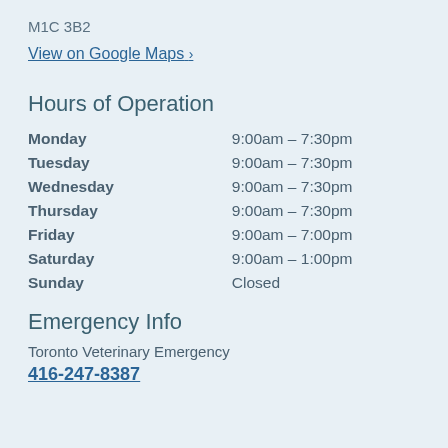M1C 3B2
View on Google Maps ›
Hours of Operation
| Day | Hours |
| --- | --- |
| Monday | 9:00am – 7:30pm |
| Tuesday | 9:00am – 7:30pm |
| Wednesday | 9:00am – 7:30pm |
| Thursday | 9:00am – 7:30pm |
| Friday | 9:00am – 7:00pm |
| Saturday | 9:00am – 1:00pm |
| Sunday | Closed |
Emergency Info
Toronto Veterinary Emergency
416-247-8387